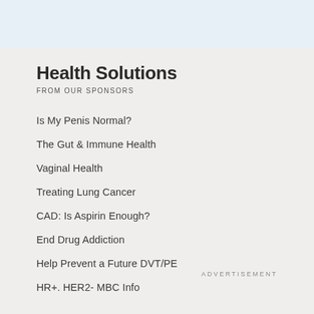Health Solutions
FROM OUR SPONSORS
Is My Penis Normal?
The Gut & Immune Health
Vaginal Health
Treating Lung Cancer
CAD: Is Aspirin Enough?
End Drug Addiction
Help Prevent a Future DVT/PE
HR+. HER2- MBC Info
ADVERTISEMENT